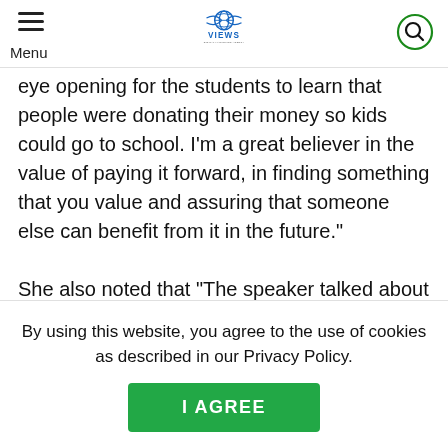Menu | VIEWS Digital Marketing Agency
eye opening for the students to learn that people were donating their money so kids could go to school. I’m a great believer in the value of paying it forward, in finding something that you value and assuring that someone else can benefit from it in the future.”

She also noted that “The speaker talked about
By using this website, you agree to the use of cookies as described in our Privacy Policy.
I AGREE